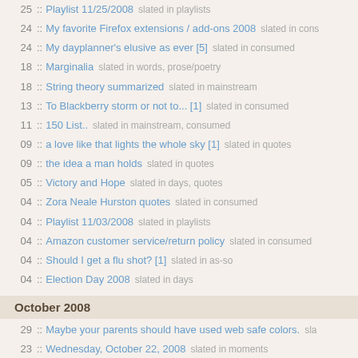25 :: Playlist 11/25/2008   slated in playlists
24 :: My favorite Firefox extensions / add-ons 2008   slated in cons
24 :: My dayplanner's elusive as ever [5]   slated in consumed
18 :: Marginalia   slated in words, prose/poetry
18 :: String theory summarized   slated in mainstream
13 :: To Blackberry storm or not to... [1]   slated in consumed
11 :: 150 List..   slated in mainstream, consumed
09 :: a love like that lights the whole sky [1]   slated in quotes
09 :: the idea a man holds   slated in quotes
05 :: Victory and Hope   slated in days, quotes
04 :: Zora Neale Hurston quotes   slated in consumed
04 :: Playlist 11/03/2008   slated in playlists
04 :: Amazon customer service/return policy   slated in consumed
04 :: Should I get a flu shot? [1]   slated in as-so
04 :: Election Day 2008   slated in days
October 2008
29 :: Maybe your parents should have used web safe colors.   sla
23 :: Wednesday, October 22, 2008   slated in moments
23 :: Logos is home   slated in moments
22 :: October 21, 2008
18 :: normal is a failure of potential [1]   slated in quotes